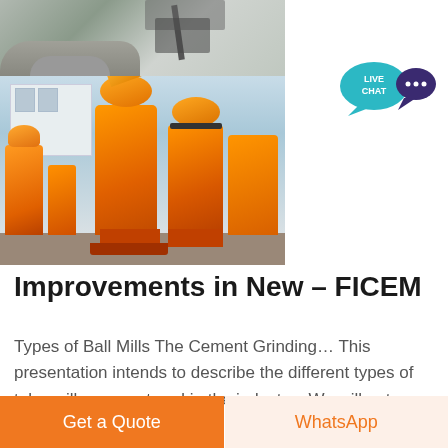[Figure (photo): Top: quarry/construction site with machinery. Bottom: large orange vertical mill/grinding machines parked outdoors in a yard.]
[Figure (infographic): Live Chat button — teal speech bubble with text LIVE CHAT and a dark purple chat icon to the right.]
Improvements in New – FICEM
Types of Ball Mills The Cement Grinding… This presentation intends to describe the different types of tube mills encountered in the industry,, We will not
Get a Quote
WhatsApp